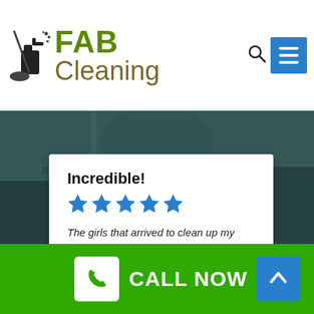[Figure (logo): FAB Cleaning logo with cleaning spray bottle icon, FAB in green, Cleaning in olive/brown]
Incredible!
[Figure (other): Five blue star rating icons]
The girls that arrived to clean up my home yesterday were remarkable! Everything is sparkling clean now! I am impressed!
CALL NOW